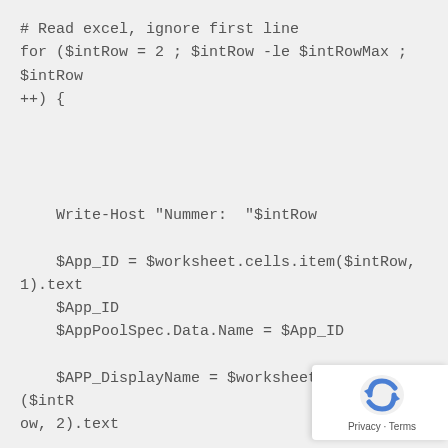# Read excel, ignore first line
for ($intRow = 2 ; $intRow -le $intRowMax ; $intRow ++) {




    Write-Host "Nummer:  "$intRow

    $App_ID = $worksheet.cells.item($intRow, 1).text
    $App_ID
    $AppPoolSpec.Data.Name = $App_ID

    $APP_DisplayName = $worksheet.cells.item($intRow, 2).text

    $APP_DisplayName
    $appPoolSpec.Data.DisplayName = $APP_DisplayName

    $AppPoolSpec.Data.Enabled = $true